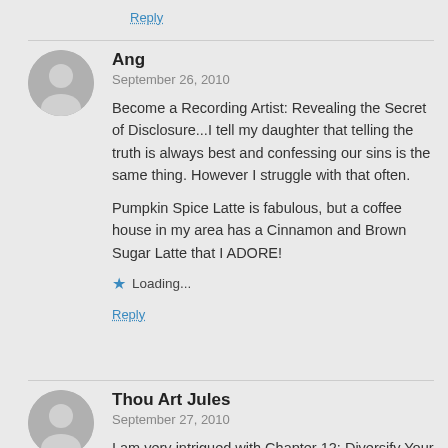Reply
Ang
September 26, 2010

Become a Recording Artist: Revealing the Secret of Disclosure...I tell my daughter that telling the truth is always best and confessing our sins is the same thing. However I struggle with that often.

Pumpkin Spice Latte is fabulous, but a coffee house in my area has a Cinnamon and Brown Sugar Latte that I ADORE!

★ Loading...

Reply
Thou Art Jules
September 27, 2010

I am very intrigued with Chapter 12: Diversify Your